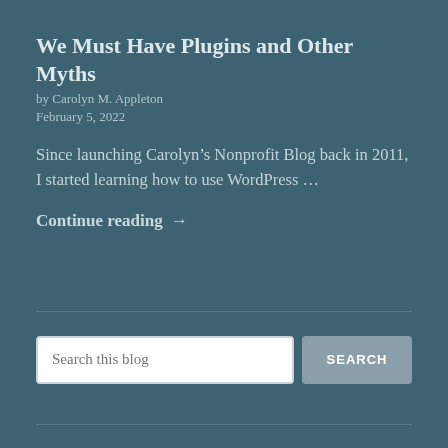We Must Have Plugins and Other Myths
by Carolyn M. Appleton
February 5, 2022
Since launching Carolyn’s Nonprofit Blog back in 2011, I started learning how to use WordPress …
Continue reading →
Search this blog
SEARCH